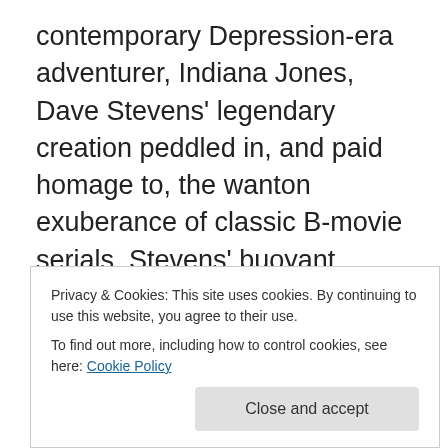contemporary Depression-era adventurer, Indiana Jones, Dave Stevens' legendary creation peddled in, and paid homage to, the wanton exuberance of classic B-movie serials. Stevens' buoyant, uncynical cliffhangers (hell, the lead character's name is Cliff) combined with his lush illustration (its classic draftsmenship itself like a relic from a bygone era) to inspire a devoted cult following. And let's not forget his masterstroke; making pin-up queen, Betty Page, Cliff's girlfriend. Stevens' work was so accomplished, it seemed superfluous for anyone else to try their hand at the character, even after his untimely
Privacy & Cookies: This site uses cookies. By continuing to use this website, you agree to their use.
To find out more, including how to control cookies, see here: Cookie Policy